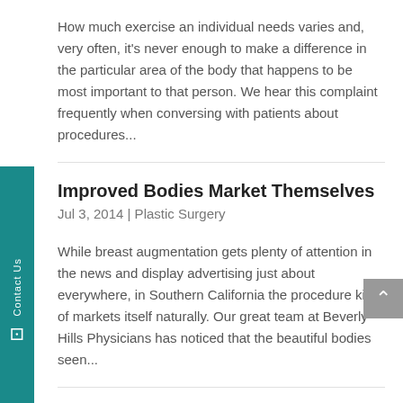How much exercise an individual needs varies and, very often, it's never enough to make a difference in the particular area of the body that happens to be most important to that person. We hear this complaint frequently when conversing with patients about procedures...
Improved Bodies Market Themselves
Jul 3, 2014 | Plastic Surgery
While breast augmentation gets plenty of attention in the news and display advertising just about everywhere, in Southern California the procedure kind of markets itself naturally. Our great team at Beverly Hills Physicians has noticed that the beautiful bodies seen...
Qualified Plastic Surgeons Ensure the Best Results, says Beverly Hills Physicians